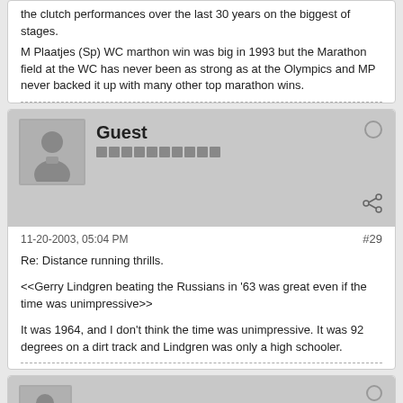the clutch performances over the last 30 years on the biggest of stages.
M Plaatjes (Sp) WC marthon win was big in 1993 but the Marathon field at the WC has never been as strong as at the Olympics and MP never backed it up with many other top marathon wins.
Guest
11-20-2003, 05:04 PM
#29
Re: Distance running thrills.
<<Gerry Lindgren beating the Russians in '63 was great even if the time was unimpressive>>
It was 1964, and I don't think the time was unimpressive. It was 92 degrees on a dirt track and Lindgren was only a high schooler.
Guest